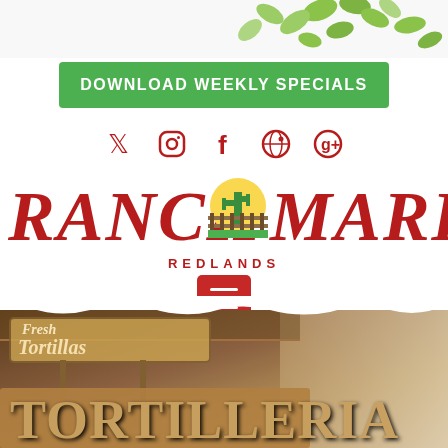[Figure (photo): Green beans scattered in top background area]
DOWNLOAD WEEKLY SPECIALS
[Figure (infographic): Social media icons: Twitter, Instagram, Facebook, Pinterest, Google+]
[Figure (logo): Ranch Market Redlands logo with cactus and sunset emblem]
[Figure (infographic): Red hamburger menu button]
[Figure (photo): Tortilleria sign photo showing Fresh Tortillas and TORTILLERIA wooden sign]